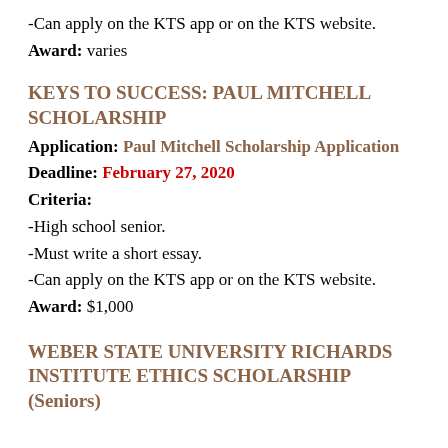-Can apply on the KTS app or on the KTS website.
Award: varies
KEYS TO SUCCESS: PAUL MITCHELL SCHOLARSHIP
Application: Paul Mitchell Scholarship Application
Deadline: February 27, 2020
Criteria:
-High school senior.
-Must write a short essay.
-Can apply on the KTS app or on the KTS website.
Award: $1,000
WEBER STATE UNIVERSITY RICHARDS INSTITUTE ETHICS SCHOLARSHIP (Seniors)